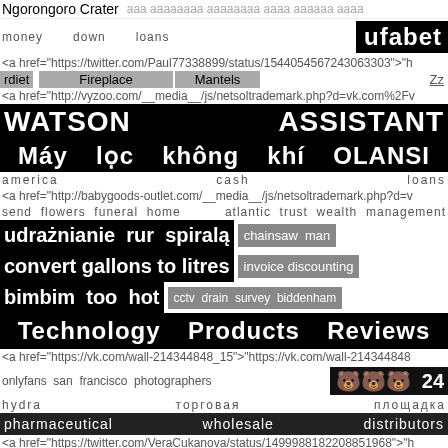Ngorongoro Crater    нна ананаана ааан аааааа аааа
money    down    loans    ufabet
<a href="https://twitter.com/Paul77338899/status/1544054567243063303">"h
rdiet    Fireplace    Mantels    Zz
<a href="http://vyzoo.com/__media__/js/netsoltrademark.php?d=vk.com%2Fv
WATSON    ASSISTANT
Máy lọc không khí OLANSI
america    cash    loans
<a href="http://babygoods-outlet.com/__media__/js/netsoltrademark.php?d=v
send  flowers  funeral  home   atlantic  trust  wealth  management
udrażnianie  rur  spiralą    chainsaw  man
convert gallons to litres    invoice discounting
bimbim  too  hot    cctv  drain  survey  biddenham
Technology    Products    Reviews
<a href="https://vk.com/wall-214344848_15">"https://vk.com/wall-214344848
onlyfans  san  francisco  photographers    안녕  24
hydra    торговая    площадка
pharmaceutical    wholesale    distributors
<a href="https://twitter.com/VeraCukanova/status/1499988182208851968">"h
vehicle  access  control  systems
dassai    45
<a href="https://vk.com/wall-214308716_103">"https://vk.com/ca